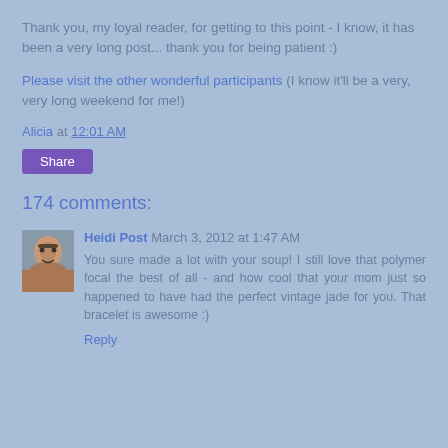Thank you, my loyal reader, for getting to this point - I know, it has been a very long post... thank you for being patient :)
Please visit the other wonderful participants (I know it'll be a very, very long weekend for me!)
Alicia at 12:01 AM
Share
174 comments:
Heidi Post March 3, 2012 at 1:47 AM
You sure made a lot with your soup! I still love that polymer focal the best of all - and how cool that your mom just so happened to have had the perfect vintage jade for you. That bracelet is awesome :)
Reply